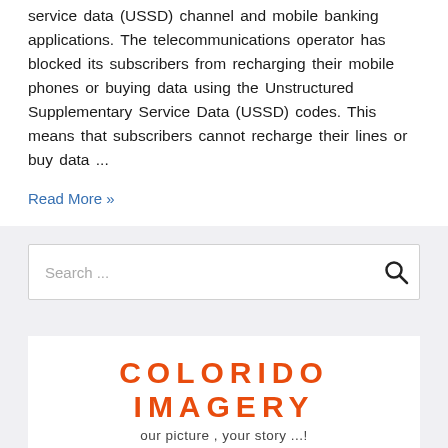service data (USSD) channel and mobile banking applications. The telecommunications operator has blocked its subscribers from recharging their mobile phones or buying data using the Unstructured Supplementary Service Data (USSD) codes. This means that subscribers cannot recharge their lines or buy data ...
Read More »
Search ...
[Figure (logo): COLORIDO IMAGERY logo with tagline 'our picture , your story ...!']